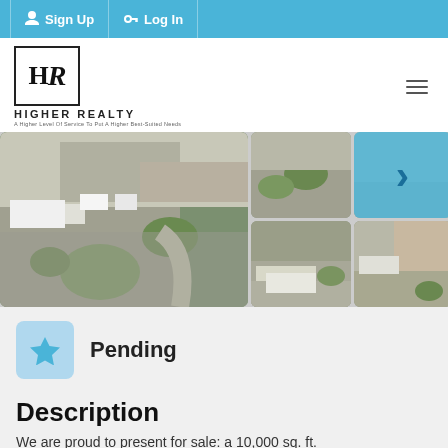Sign Up  Log In
[Figure (logo): Higher Realty logo — stylized HR monogram in a square border, with text HIGHER REALTY and tagline]
[Figure (photo): Aerial photo grid of commercial/industrial warehouse property showing parking lot, landscaping, and buildings. Multiple thumbnail views with a next-arrow overlay.]
Pending
Description
We are proud to present for sale: a 10,000 sq. ft.